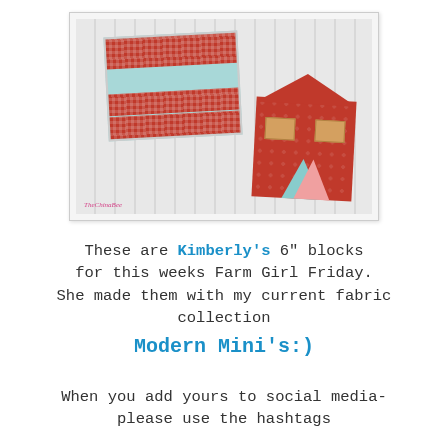[Figure (photo): Two quilted fabric blocks on a white wood surface. Left block is a flag/star design with teal, red cross-stitch patterned, and gold star. Right block is a house shape in red fabric with small gold windows and colorful triangles.]
These are Kimberly's 6" blocks for this weeks Farm Girl Friday. She made them with my current fabric collection Modern Mini's:)
When you add yours to social media- please use the hashtags